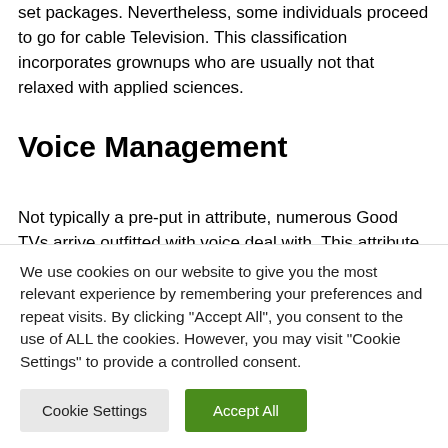set packages. Nevertheless, some individuals proceed to go for cable Television. This classification incorporates grownups who are usually not that relaxed with applied sciences.
Voice Management
Not typically a pre-put in attribute, numerous Good TVs arrive outfitted with voice deal with. This attribute tends to...
We use cookies on our website to give you the most relevant experience by remembering your preferences and repeat visits. By clicking “Accept All”, you consent to the use of ALL the cookies. However, you may visit "Cookie Settings" to provide a controlled consent.